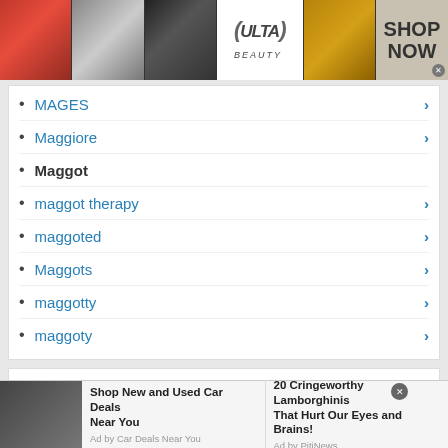[Figure (other): Advertisement banner for Ulta Beauty with makeup images and 'SHOP NOW' call to action]
MAGES
Maggiore
Maggot
maggot therapy
maggoted
Maggots
maggotty
maggoty
Resources
MAGGOT synonyms at Thesaurus.com
[Figure (other): Bottom advertisement bar: car ad 'Shop New and Used Car Deals Near You' by Car Deals Near You, and '20 Cringeworthy Lamborghinis That Hurt Our Eyes and Brains!' by PitiNews]